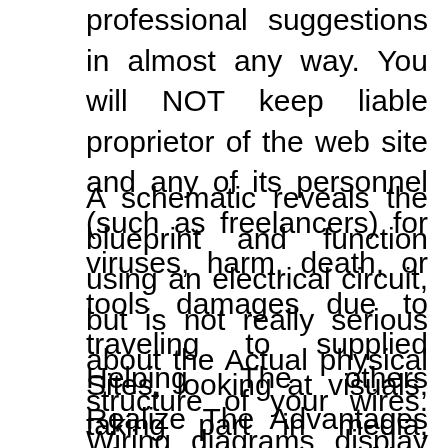professional suggestions in almost any way. You will NOT keep liable proprietor of the web site and any of its personnel (such as freelancers) for viruses, harm, death, or tools damages due to traveling to supplied Sites, looking at visuals, taking part in media, setting up computer software, and pursuing text Guidelines.
A schematic reveals the blueprint and function using an electrical circuit, but is not really serious about the Actual physical structure of your wires. Wiring diagrams display how the wires are connected and where they ought to located in the actual gadget, as well as the Actual physical connections among every among the list of elements.
Helping The others Realize The Advantages Of wiring schematic Manual For Ipod Shuffle 4th Generation , This van is getting a charging program difficulty and I believe the lack of the operational battery warning gentle is associated with the problem. Thanks for visiting the